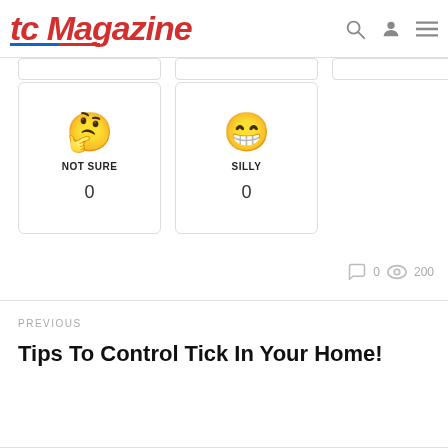tc Magazine
[Figure (infographic): Two reaction cards: NOT SURE (thinking face emoji, count 0) and SILLY (grinning face emoji, count 0)]
0  200 (comment count and view count)
PREVIOUS
Tips To Control Tick In Your Home!